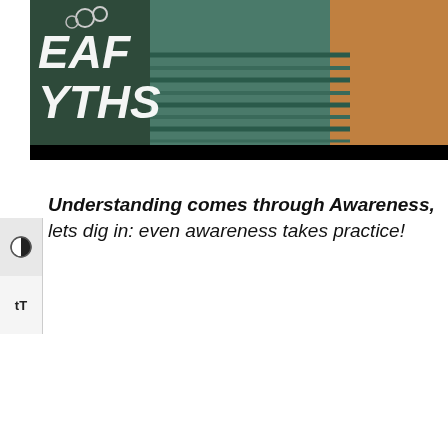[Figure (photo): Photo banner showing three people (a woman with a necklace, a person in a striped shirt, and a man) with overlaid bold italic text reading 'EAF YTHS' (partial, cropped). A black bar runs across the bottom of the image.]
Understanding comes through Awareness, lets dig in: even awareness takes practice!